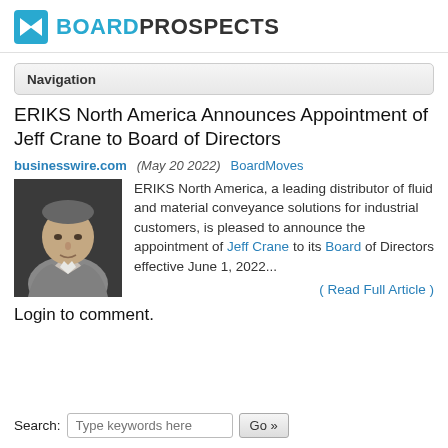BOARDPROSPECTS
Navigation
ERIKS North America Announces Appointment of Jeff Crane to Board of Directors
businesswire.com (May 20 2022)  BoardMoves
[Figure (photo): Headshot of Jeff Crane, a middle-aged man in a grey blazer against a dark background]
ERIKS North America, a leading distributor of fluid and material conveyance solutions for industrial customers, is pleased to announce the appointment of Jeff Crane to its Board of Directors effective June 1, 2022...
( Read Full Article )
Login to comment.
Search: Type keywords here  Go »